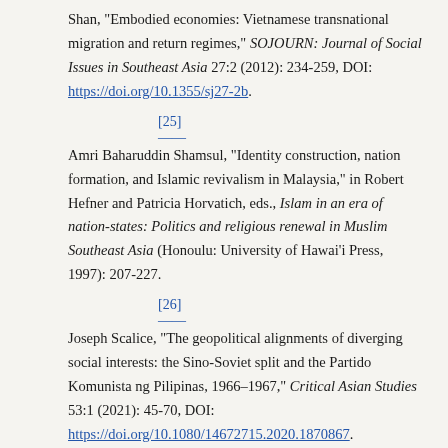Shan, "Embodied economies: Vietnamese transnational migration and return regimes," SOJOURN: Journal of Social Issues in Southeast Asia 27:2 (2012): 234-259, DOI: https://doi.org/10.1355/sj27-2b.
[25] — Amri Baharuddin Shamsul, "Identity construction, nation formation, and Islamic revivalism in Malaysia," in Robert Hefner and Patricia Horvatich, eds., Islam in an era of nation-states: Politics and religious renewal in Muslim Southeast Asia (Honoulu: University of Hawai'i Press, 1997): 207-227.
[26] — Joseph Scalice, "The geopolitical alignments of diverging social interests: the Sino-Soviet split and the Partido Komunista ng Pilipinas, 1966–1967," Critical Asian Studies 53:1 (2021): 45-70, DOI: https://doi.org/10.1080/14672715.2020.1870867.
[27] — See for example Maja Janmyr and Are J. Knudsen. eds., "Dossier on Humanitarianism in Refugee Camps," Humanity7:3 (Winter 2016): 391-468; Darcie Fontaine, "The Politics of Neutrality: Cimade, Humanitarianism, and State Power in Modern France," Humanity 9:2 (Summer 2018): 245-270; Peter